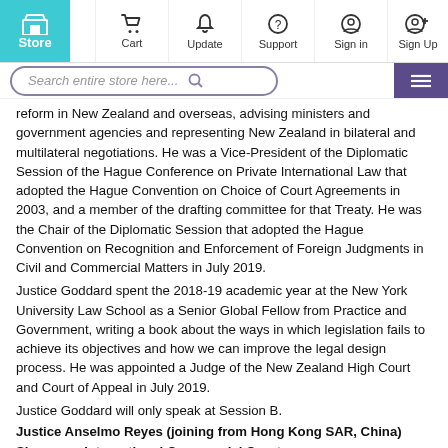Store | Cart | Update | Support | Sign in | Sign Up
reform in New Zealand and overseas, advising ministers and government agencies and representing New Zealand in bilateral and multilateral negotiations. He was a Vice-President of the Diplomatic Session of the Hague Conference on Private International Law that adopted the Hague Convention on Choice of Court Agreements in 2003, and a member of the drafting committee for that Treaty. He was the Chair of the Diplomatic Session that adopted the Hague Convention on Recognition and Enforcement of Foreign Judgments in Civil and Commercial Matters in July 2019.
Justice Goddard spent the 2018-19 academic year at the New York University Law School as a Senior Global Fellow from Practice and Government, writing a book about the ways in which legislation fails to achieve its objectives and how we can improve the legal design process. He was appointed a Judge of the New Zealand High Court and Court of Appeal in July 2019.
Justice Goddard will only speak at Session B.
Justice Anselmo Reyes (joining from Hong Kong SAR, China) Singapore International Commercial Court